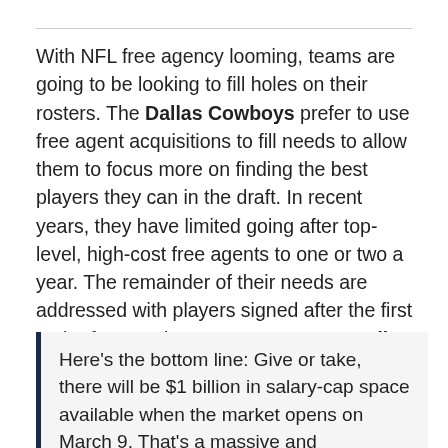With NFL free agency looming, teams are going to be looking to fill holes on their rosters. The Dallas Cowboys prefer to use free agent acquisitions to fill needs to allow them to focus more on finding the best players they can in the draft. In recent years, they have limited going after top-level, high-cost free agents to one or two a year. The remainder of their needs are addressed with players signed after the first rush of expensive contracts. But according to a persuasive article at ESPN, the price of all free agents is going to go up this year.
Here's the bottom line: Give or take, there will be $1 billion in salary-cap space available when the market opens on March 9. That's a massive and unprecedented number, enough to pay the rosters of